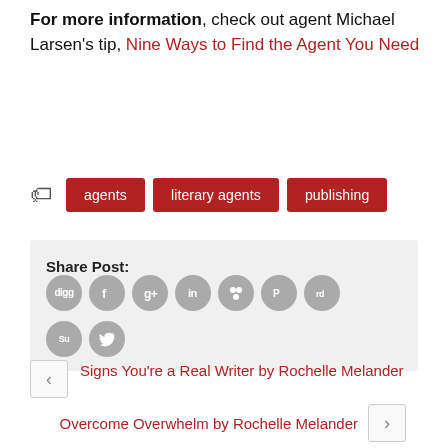For more information, check out agent Michael Larsen’s tip, Nine Ways to Find the Agent You Need
agents
literary agents
publishing
Share Post: [social icons: digg, facebook, google+, linkedin, myspace, pinterest, reddit, stumbleupon, twitter]
< Signs You’re a Real Writer by Rochelle Melander
Overcome Overwhelm by Rochelle Melander >